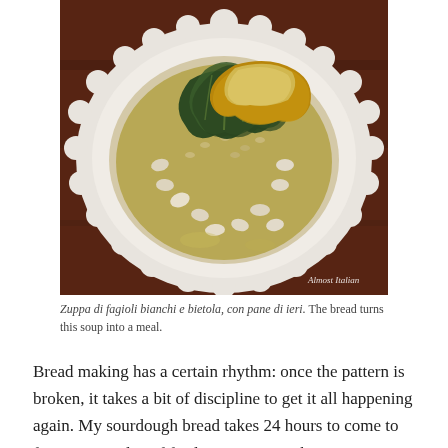[Figure (photo): Overhead photo of a white scalloped-edge plate containing zuppa di fagioli bianchi e bietola (white bean and chard soup with bread). The soup has greens (chard), white beans, small pasta, and a slice of bread on top, in a broth. Dark wooden table background. Watermark 'Almost Italian' in bottom right corner.]
Zuppa di fagioli bianchi e bietola, con pane di ieri. The bread turns this soup into a meal.
Bread making has a certain rhythm: once the pattern is broken, it takes a bit of discipline to get it all happening again. My sourdough bread takes 24 hours to come to fruition: one day of feeding my starter, beginning at 7 am,